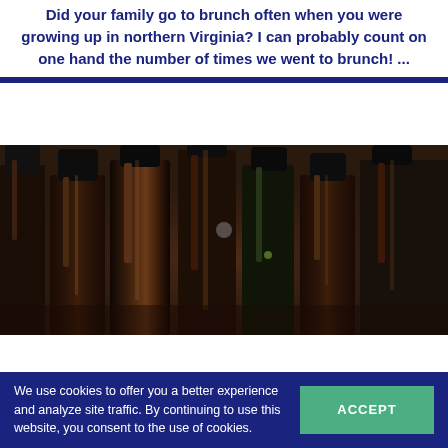Did your family go to brunch often when you were growing up in northern Virginia? I can probably count on one hand the number of times we went to brunch! ...
[Figure (photo): Photo of multiple dark wine bottles with black capsules viewed from the front/top against a dark brown background]
We use cookies to offer you a better experience and analyze site traffic. By continuing to use this website, you consent to the use of cookies.